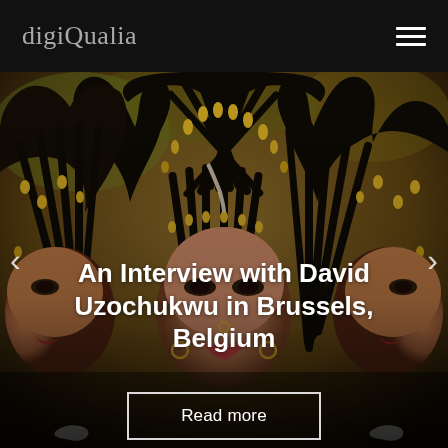digiQualia
[Figure (photo): Three young women with elaborate braided hairstyles adorned with gold beads/clips, photographed in a mirrored or triple-exposure style against a blurred autumn background. They wear black Nike tops. The image is used as a hero banner for an article.]
An Interview with David Uzochukwu in Brussels, Belgium
Read more